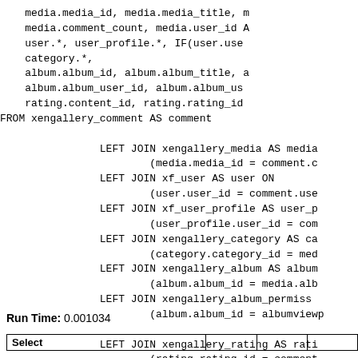media.media_id, media.media_title, media.comment_count, media.user_id AS user.*, user_profile.*, IF(user.use category.*, album.album_id, album.album_title, a album.album_user_id, album.album_us rating.content_id, rating.rating_id FROM xengallery_comment AS comment LEFT JOIN xengallery_media AS media (media.media_id = comment.c LEFT JOIN xf_user AS user ON (user.user_id = comment.use LEFT JOIN xf_user_profile AS user_p (user_profile.user_id = comm LEFT JOIN xengallery_category AS ca (category.category_id = med LEFT JOIN xengallery_album AS album (album.album_id = media.alb LEFT JOIN xengallery_album_permissi (album.album_id = albumviewp LEFT JOIN xengallery_rating AS rati (rating.rating_id = comment WHERE (comment.content_id = 24751) AND (com ORDER BY comment.comment_date ASC LIMIT 10
Run Time: 0.001034
| Select |  |  |  |
| --- | --- | --- | --- |